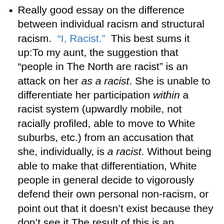Really good essay on the difference between individual racism and structural racism. "I, Racist." This best sums it up:To my aunt, the suggestion that "people in The North are racist" is an attack on her as a racist. She is unable to differentiate her participation within a racist system (upwardly mobile, not racially profiled, able to move to White suburbs, etc.) from an accusation that she, individually, is a racist. Without being able to make that differentiation, White people in general decide to vigorously defend their own personal non-racism, or point out that it doesn't exist because they don't see it.The result of this is an incessantly repeating argument where a Black person says "Racism still exists. It is real," and a white person argues "You're wrong, I'm not racist at all. I don't even see any racism." My aunt's immediate response is not "that is wrong, we should do better." No, her...